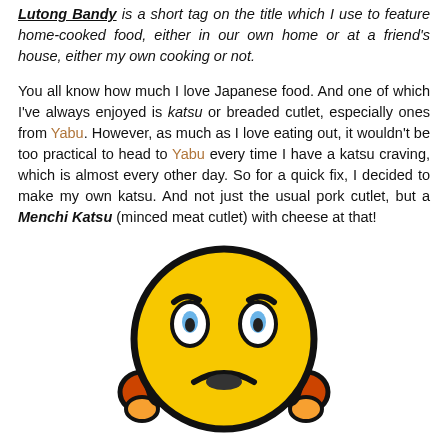Lutong Bandy is a short tag on the title which I use to feature home-cooked food, either in our own home or at a friend's house, either my own cooking or not.
You all know how much I love Japanese food. And one of which I've always enjoyed is katsu or breaded cutlet, especially ones from Yabu. However, as much as I love eating out, it wouldn't be too practical to head to Yabu every time I have a katsu craving, which is almost every other day. So for a quick fix, I decided to make my own katsu. And not just the usual pork cutlet, but a Menchi Katsu (minced meat cutlet) with cheese at that!
[Figure (illustration): A cartoon emoji-style character with a yellow round face, sad/frustrated expression, furrowed brows with blue highlights, a frown, and orange hands/arms raised on either side of its head.]